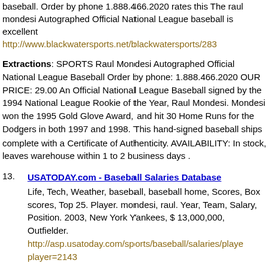baseball. Order by phone 1.888.466.2020 rates this The raul mondesi Autographed Official National League baseball is excellent
http://www.blackwatersports.net/blackwatersports/2834
Extractions: SPORTS Raul Mondesi Autographed Official National League Baseball Order by phone: 1.888.466.2020 OUR PRICE: 29.00 An Official National League Baseball signed by the 1994 National League Rookie of the Year, Raul Mondesi. Mondesi won the 1995 Gold Glove Award, and hit 30 Home Runs for the Dodgers in both 1997 and 1998. This hand-signed baseball ships complete with a Certificate of Authenticity. AVAILABILITY: In stock, leaves warehouse within 1 to 2 business days .
13. USATODAY.com - Baseball Salaries Database
Life, Tech, Weather, baseball, baseball home, Scores, Box scores, Top 25. Player. mondesi, raul. Year, Team, Salary, Position. 2003, New York Yankees, $ 13,000,000, Outfielder.
http://asp.usatoday.com/sports/baseball/salaries/playe player=2143
14. Bills Baseball Cards - Raul Mondesi Baseball Cards
List of raul mondesi baseball Cards For Sale raul